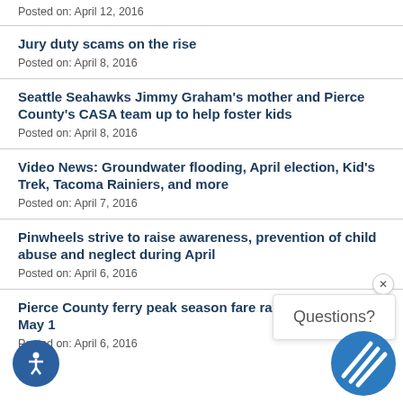Posted on: April 12, 2016
Jury duty scams on the rise
Posted on: April 8, 2016
Seattle Seahawks Jimmy Graham's mother and Pierce County's CASA team up to help foster kids
Posted on: April 8, 2016
Video News: Groundwater flooding, April election, Kid's Trek, Tacoma Rainiers, and more
Posted on: April 7, 2016
Pinwheels strive to raise awareness, prevention of child abuse and neglect during April
Posted on: April 6, 2016
Pierce County ferry peak season fare rates go into effect May 1
Posted on: April 6, 2016